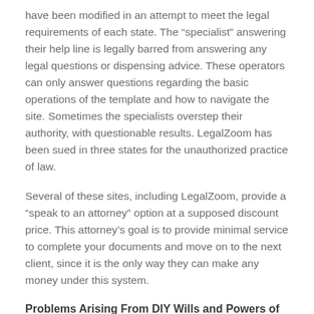have been modified in an attempt to meet the legal requirements of each state. The “specialist” answering their help line is legally barred from answering any legal questions or dispensing advice. These operators can only answer questions regarding the basic operations of the template and how to navigate the site. Sometimes the specialists overstep their authority, with questionable results. LegalZoom has been sued in three states for the unauthorized practice of law.
Several of these sites, including LegalZoom, provide a “speak to an attorney” option at a supposed discount price. This attorney’s goal is to provide minimal service to complete your documents and move on to the next client, since it is the only way they can make any money under this system.
Problems Arising From DIY Wills and Powers of Attorney